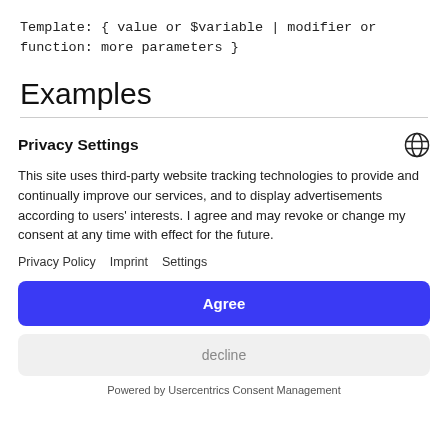Template: { value or $variable | modifier or function: more parameters }
Examples
Privacy Settings
This site uses third-party website tracking technologies to provide and continually improve our services, and to display advertisements according to users' interests. I agree and may revoke or change my consent at any time with effect for the future.
Privacy Policy   Imprint   Settings
Agree
decline
Powered by Usercentrics Consent Management